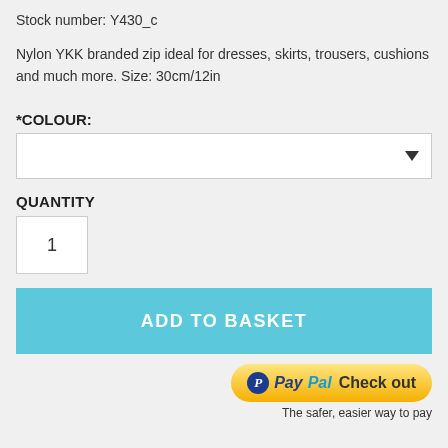Stock number: Y430_c
Nylon YKK branded zip ideal for dresses, skirts, trousers, cushions and much more. Size: 30cm/12in
*COLOUR:
[Figure (screenshot): Dropdown select box for colour with arrow indicator]
QUANTITY
[Figure (screenshot): Quantity input box showing value 1]
[Figure (screenshot): Add to Basket button in teal/cyan color]
[Figure (logo): PayPal Checkout button with golden gradient and PayPal logo]
The safer, easier way to pay